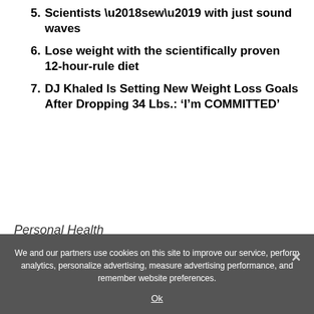5. Scientists ‘sew’ with just sound waves
6. Lose weight with the scientifically proven 12-hour-rule diet
7. DJ Khaled Is Setting New Weight Loss Goals After Dropping 34 Lbs.: ‘I’m COMMITTED’
Personal Health
We and our partners use cookies on this site to improve our service, perform analytics, personalize advertising, measure advertising performance, and remember website preferences.
Ok